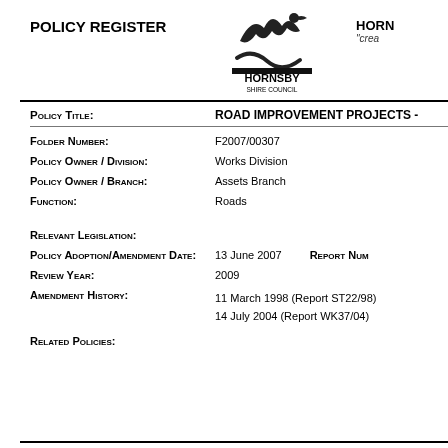POLICY REGISTER
[Figure (logo): Hornsby Shire Council logo with bird silhouette and water design]
HORN
"crea
| Field | Value |
| --- | --- |
| POLICY TITLE: | ROAD IMPROVEMENT PROJECTS - |
| FOLDER NUMBER: | F2007/00307 |
| POLICY OWNER / DIVISION: | Works Division |
| POLICY OWNER / BRANCH: | Assets Branch |
| FUNCTION: | Roads |
| RELEVANT LEGISLATION: |  |
| POLICY ADOPTION/AMENDMENT DATE: | 13 June 2007   REPORT NUM |
| REVIEW YEAR: | 2009 |
| AMENDMENT HISTORY: | 11 March 1998 (Report ST22/98)
14 July 2004 (Report WK37/04) |
| RELATED POLICIES: |  |